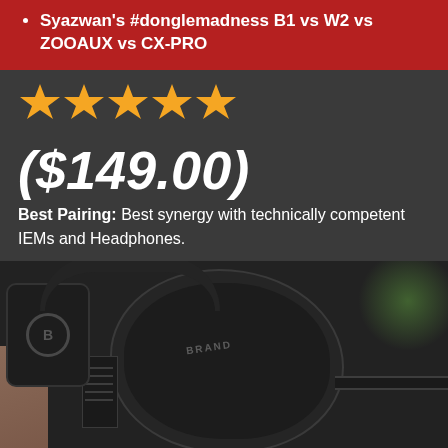Syazwan's #donglemadness B1 vs W2 vs ZOOAUX vs CX-PRO
[Figure (other): Five gold star rating icons]
($149.00)
Best Pairing: Best synergy with technically competent IEMs and Headphones.
[Figure (photo): Close-up photograph of black over-ear headphones showing the ear cup with a logo, headband, and connector strip. A hand is partially visible on the left side and there is a green plant blurred in the background on the right.]